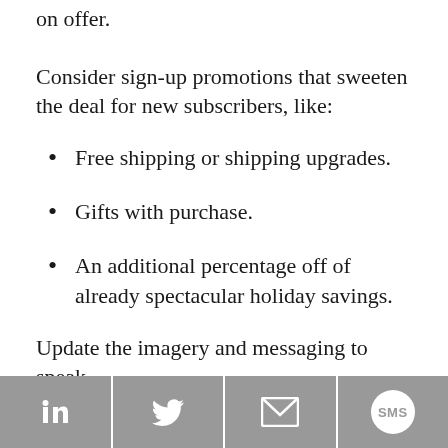on offer.
Consider sign-up promotions that sweeten the deal for new subscribers, like:
Free shipping or shipping upgrades.
Gifts with purchase.
An additional percentage off of already spectacular holiday savings.
Update the imagery and messaging to speak
LinkedIn | Twitter | Email | SMS